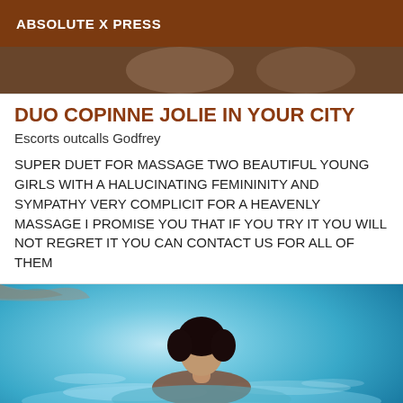ABSOLUTE X PRESS
[Figure (photo): Two women photographed from above, partial view at top of frame]
DUO COPINNE JOLIE IN YOUR CITY
Escorts outcalls Godfrey
SUPER DUET FOR MASSAGE TWO BEAUTIFUL YOUNG GIRLS WITH A HALUCINATING FEMININITY AND SYMPATHY VERY COMPLICIT FOR A HEAVENLY MASSAGE I PROMISE YOU THAT IF YOU TRY IT YOU WILL NOT REGRET IT YOU CAN CONTACT US FOR ALL OF THEM
[Figure (photo): Person swimming or bathing in a pool with turquoise water, viewed from behind, dark hair visible above water surface]